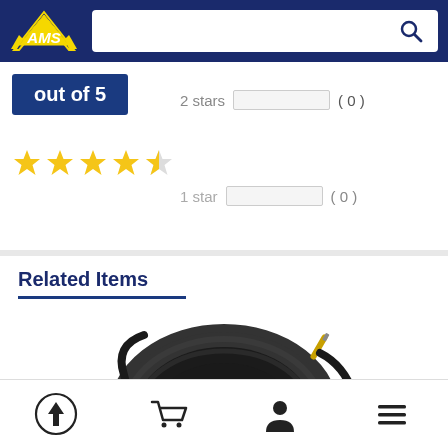[Figure (screenshot): AWS (American Music Supply) logo on dark blue background]
out of 5
2 stars (0)
[Figure (other): 4.5 star rating displayed with gold stars]
1 star (0)
Related Items
[Figure (photo): Pig Hog brand instrument cable coiled, showing logo on label, black cable with gold connector]